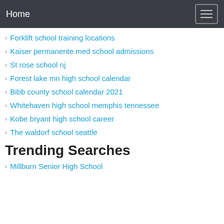Home
Forklift school training locations
Kaiser permanente med school admissions
St rose school nj
Forest lake mn high school calendar
Bibb county school calendar 2021
Whitehaven high school memphis tennessee
Kobe bryant high school career
The waldorf school seattle
Trending Searches
Millburn Senior High School